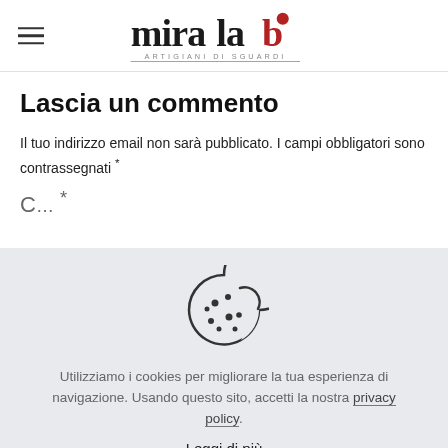MiraLab — Artigiani di Sguardi
Lascia un commento
Il tuo indirizzo email non sarà pubblicato. I campi obbligatori sono contrassegnati *
C…*
[Figure (illustration): Cookie icon — a bitten cookie with dots/crumbs, outline style]
Utilizziamo i cookies per migliorare la tua esperienza di navigazione. Usando questo sito, accetti la nostra privacy policy.
Leggi di più
Accetta